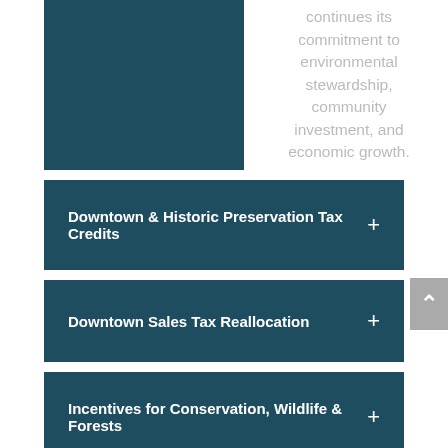[Figure (other): Dark teal/blue rectangle image block on left side of top section]
continues its commitment to environmental stewardship, community investment, and economic growth.
Downtown & Historic Preservation Tax Credits
Downtown Sales Tax Reallocation
Incentives for Conservation, Wildlife & Forests